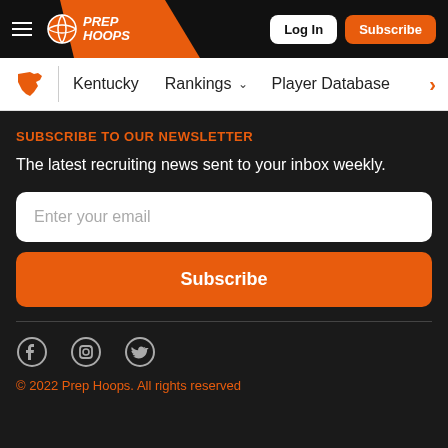[Figure (screenshot): Prep Hoops website header with logo, Log In and Subscribe buttons]
Kentucky  Rankings  Player Database
SUBSCRIBE TO OUR NEWSLETTER
The latest recruiting news sent to your inbox weekly.
Enter your email
Subscribe
[Figure (illustration): Social media icons: Facebook, Instagram, Twitter]
© 2022 Prep Hoops. All rights reserved